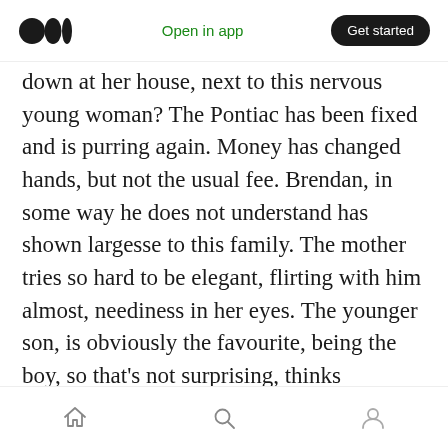Medium logo | Open in app | Get started
down at her house, next to this nervous young woman? The Pontiac has been fixed and is purring again. Money has changed hands, but not the usual fee. Brendan, in some way he does not understand has shown largesse to this family. The mother tries so hard to be elegant, flirting with him almost, neediness in her eyes. The younger son, is obviously the favourite, being the boy, so that's not surprising, thinks Brendan. The two daughters, so very different in age, are both strangely unworldly, arousing in Brendan, confusing feelings of both protectiveness and disdain.
Home | Search | Profile